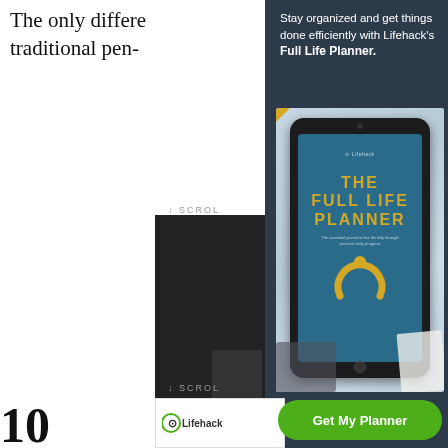The only differe… traditional pen-…
↓ SCROL…
↓ SCROL…
[Figure (screenshot): Dark overlay panel with scroll navigation elements and Lifehack logo]
Stay organized and get things done efficiently with Lifehack's Full Life Planner.
[Figure (photo): Tablet device displaying The Full Life Planner book cover by Lifehack, with gold ring logo, on a light blue marble background with keyboard and notebook props]
Get My Planner